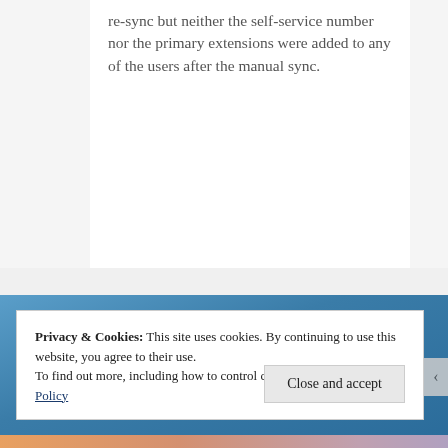re-sync but neither the self-service number nor the primary extensions were added to any of the users after the manual sync.
Privacy & Cookies: This site uses cookies. By continuing to use this website, you agree to their use.
To find out more, including how to control cookies, see here: Cookie Policy